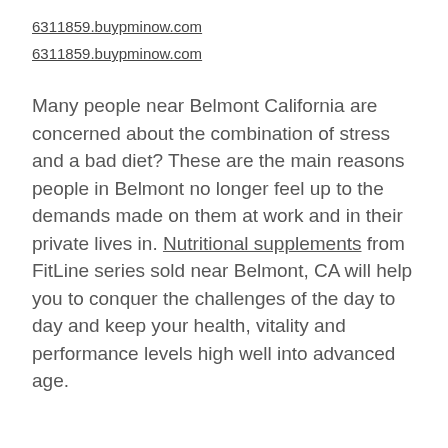6311859.buypminow.com
6311859.buypminow.com
Many people near Belmont California are concerned about the combination of stress and a bad diet? These are the main reasons people in Belmont no longer feel up to the demands made on them at work and in their private lives in. Nutritional supplements from FitLine series sold near Belmont, CA will help you to conquer the challenges of the day to day and keep your health, vitality and performance levels high well into advanced age.